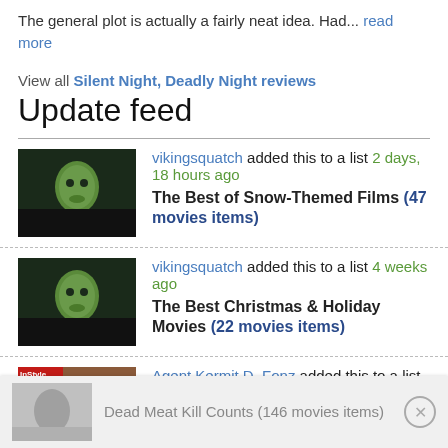The general plot is actually a fairly neat idea. Had... read more
View all Silent Night, Deadly Night reviews
Update feed
vikingsquatch added this to a list 2 days, 18 hours ago — The Best of Snow-Themed Films (47 movies items)
vikingsquatch added this to a list 4 weeks ago — The Best Christmas & Holiday Movies (22 movies items)
Agent Kermit D. Fonz added this to a list 1 month, 1 week ago
[Figure (other): Advertisement banner: Dead Meat Kill Counts (146 movies items)]